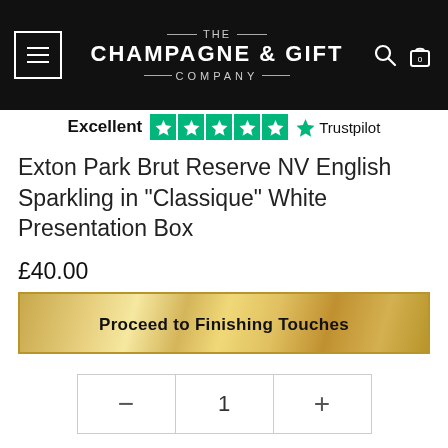[Figure (logo): The Champagne & Gift Company logo in white on black header with hamburger menu icon, search icon, and cart icon]
Excellent ★★★★★ Trustpilot
Exton Park Brut Reserve NV English Sparkling in "Classique" White Presentation Box
£40.00
Proceed to Finishing Touches
- 1 +